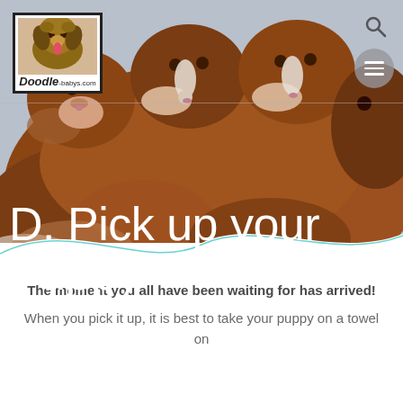[Figure (photo): Hero image of brown and white newborn/young puppies (likely Doodle breed), clustered together, photographed from above. Warm brown tones dominate. Website header area.]
D. Pick up your Puppy
The moment you all have been waiting for has arrived!
When you pick it up, it is best to take your puppy on a towel on